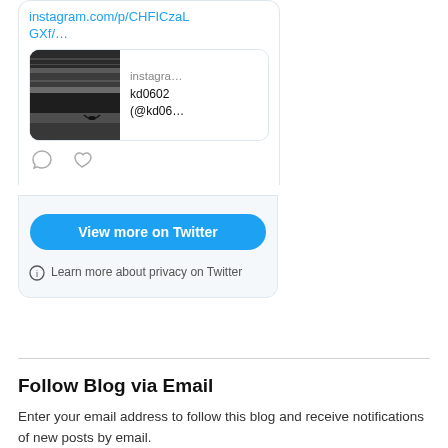instagram.com/p/CHFICzaLGXf/…
[Figure (screenshot): Instagram embed preview card with a black-and-white nature photo on the left and text 'instagra... kd0602 (@kd06...' on the right]
[Figure (other): Comment and like (heart) action icons]
View more on Twitter
ⓘ Learn more about privacy on Twitter
Follow Blog via Email
Enter your email address to follow this blog and receive notifications of new posts by email.